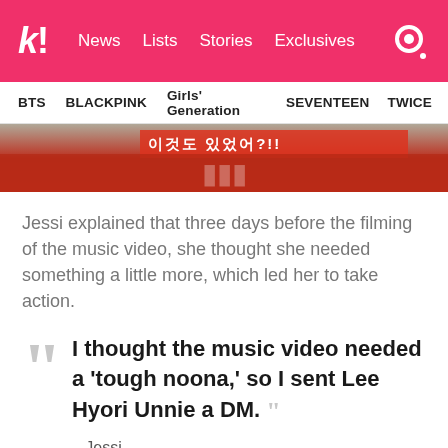k! News  Lists  Stories  Exclusives
BTS  BLACKPINK  Girls' Generation  SEVENTEEN  TWICE
[Figure (photo): Cropped photo showing people in red outfits with Korean text visible at top]
Jessi explained that three days before the filming of the music video, she thought she needed something a little more, which led her to take action.
“ I thought the music video needed a ‘tough noona,’ so I sent Lee Hyori Unnie a DM. ” – Jessi